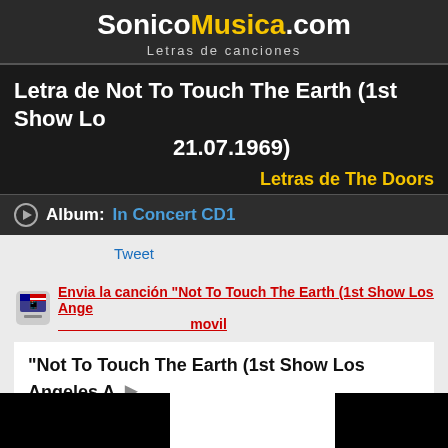SonicoMusica.com — Letras de canciones
Letra de Not To Touch The Earth (1st Show Los Angeles 21.07.1969)
Letras de The Doors
Album: In Concert CD1
Tweet
Envia la canción "Not To Touch The Earth (1st Show Los Angeles..." a tu movil
"Not To Touch The Earth (1st Show Los Angeles A..."
Not to touch the earth
Not to see the sun
Nothing left to do, but